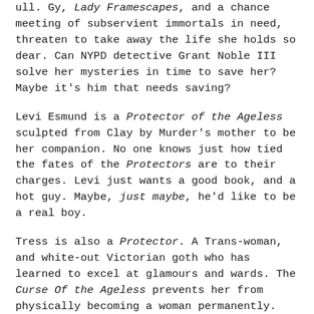ull. Gy, Lady Framescapes, and a chance meeting of subservient immortals in need, threaten to take away the life she holds so dear. Can NYPD detective Grant Noble III solve her mysteries in time to save her? Maybe it's him that needs saving?
Levi Esmund is a Protector of the Ageless sculpted from Clay by Murder's mother to be her companion. No one knows just how tied the fates of the Protectors are to their charges. Levi just wants a good book, and a hot guy. Maybe, just maybe, he'd like to be a real boy.
Tress is also a Protector. A Trans-woman, and white-out Victorian goth who has learned to excel at glamours and wards. The Curse Of the Ageless prevents her from physically becoming a woman permanently. She's devoted her life to helping trans-girls in need. Just one problem. She has yet to figure out how to